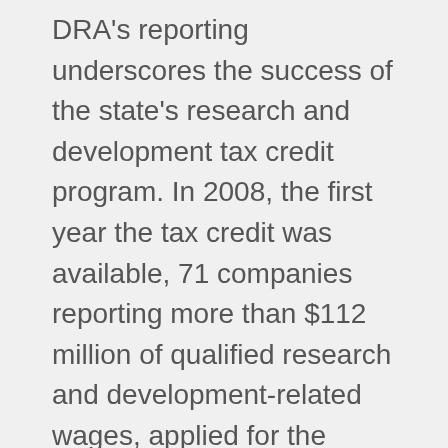DRA's reporting underscores the success of the state's research and development tax credit program. In 2008, the first year the tax credit was available, 71 companies reporting more than $112 million of qualified research and development-related wages, applied for the credit. By 2020 that number had increased to 230 companies reporting over a half billion dollars in qualified research and development wages. In fact, DRA reports that R & D activity has increased in New Hampshire every year the tax credit has existed, including the darkest days of the Great Recession.
It's important to remind readers of the critical importance manufacturing plays in New Hampshire's economy. According to the National Association of Manufacturers, manufacturing in New Hampshire accounts